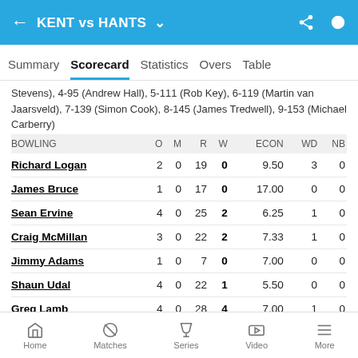KENT vs HANTS
Summary  Scorecard  Statistics  Overs  Table
Stevens), 4-95 (Andrew Hall), 5-111 (Rob Key), 6-119 (Martin van Jaarsveld), 7-139 (Simon Cook), 8-145 (James Tredwell), 9-153 (Michael Carberry)
| BOWLING | O | M | R | W | ECON | WD | NB |
| --- | --- | --- | --- | --- | --- | --- | --- |
| Richard Logan | 2 | 0 | 19 | 0 | 9.50 | 3 | 0 |
| James Bruce | 1 | 0 | 17 | 0 | 17.00 | 0 | 0 |
| Sean Ervine | 4 | 0 | 25 | 2 | 6.25 | 1 | 0 |
| Craig McMillan | 3 | 0 | 22 | 2 | 7.33 | 1 | 0 |
| Jimmy Adams | 1 | 0 | 7 | 0 | 7.00 | 0 | 0 |
| Shaun Udal | 4 | 0 | 22 | 1 | 5.50 | 0 | 0 |
| Greg Lamb | 4 | 0 | 28 | 4 | 7.00 | 1 | 0 |
| Mitchell Stokes | 1 | 0 | 14 | 0 | 14.00 | 0 | 0 |
Home  Matches  Series  Video  More